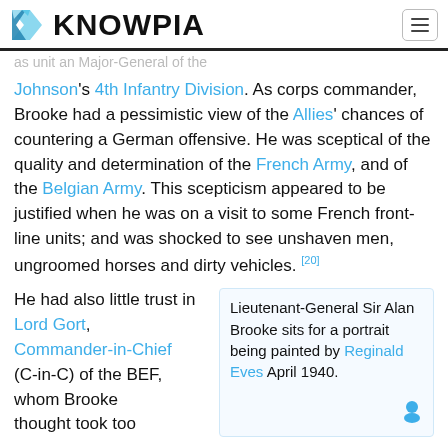KNOWPIA
Johnson's 4th Infantry Division. As corps commander, Brooke had a pessimistic view of the Allies' chances of countering a German offensive. He was sceptical of the quality and determination of the French Army, and of the Belgian Army. This scepticism appeared to be justified when he was on a visit to some French front-line units; and was shocked to see unshaven men, ungroomed horses and dirty vehicles.[20]
He had also little trust in Lord Gort, Commander-in-Chief (C-in-C) of the BEF, whom Brooke thought took too
Lieutenant-General Sir Alan Brooke sits for a portrait being painted by Reginald Eves April 1940.